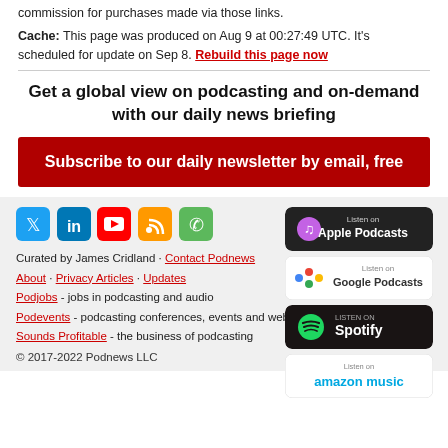commission for purchases made via those links.
Cache: This page was produced on Aug 9 at 00:27:49 UTC. It's scheduled for update on Sep 8. Rebuild this page now
Get a global view on podcasting and on-demand with our daily news briefing
Subscribe to our daily newsletter by email, free
[Figure (logo): Social media icons: Twitter, LinkedIn, YouTube, RSS, and another icon]
Curated by James Cridland · Contact Podnews
About · Privacy Articles · Updates
Podjobs - jobs in podcasting and audio
Podevents - podcasting conferences, events and webinars
Sounds Profitable - the business of podcasting
[Figure (logo): Listen on Apple Podcasts badge]
[Figure (logo): Listen on Google Podcasts badge]
[Figure (logo): Listen on Spotify badge]
[Figure (logo): Listen on Amazon Music badge]
© 2017-2022 Podnews LLC